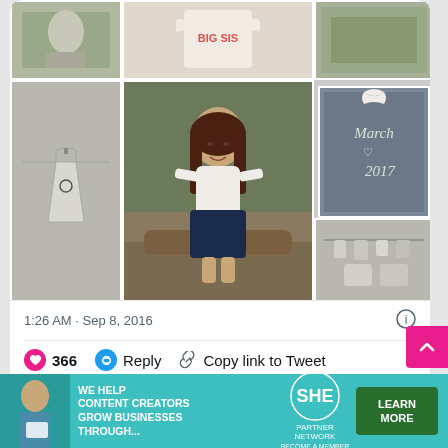[Figure (photo): Twitter/social media post showing a collage of 6 photos: pregnancy/sibling announcement photos including a girl in navy dress sitting on a log outdoors, a child's dress with heart, a 'BIG SIS' shirt, a chalkboard sign reading 'March 2017', and clothesline announcement photos.]
1:26 AM · Sep 8, 2016
366  Reply  Copy link to Tweet
Read 12 replies
[Figure (infographic): Advertisement banner: 'WE HELP CONTENT CREATORS GROW BUSINESSES THROUGH...' with SHE Partner Network logo and 'LEARN MORE' button, teal background.]